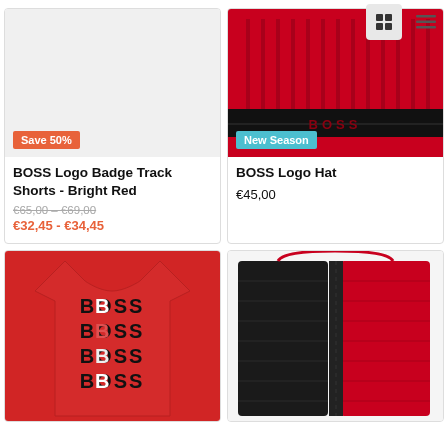[Figure (screenshot): Grid/list view toggle icons in top right corner]
[Figure (photo): BOSS Logo Badge Track Shorts - Bright Red product image, light gray background]
Save 50%
BOSS Logo Badge Track Shorts - Bright Red
€65,00 - €69,00
€32,45 - €34,45
[Figure (photo): BOSS Logo Hat in red/black with BOSS text, red beanie hat on dark background]
New Season
BOSS Logo Hat
€45,00
[Figure (photo): Red BOSS long-sleeve shirt with stacked BOSS logo text in multiple colors]
[Figure (photo): Red and black BOSS puffer/quilted vest jacket]